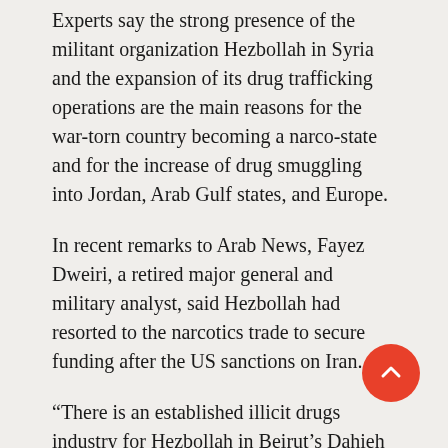Experts say the strong presence of the militant organization Hezbollah in Syria and the expansion of its drug trafficking operations are the main reasons for the war-torn country becoming a narco-state and for the increase of drug smuggling into Jordan, Arab Gulf states, and Europe.
In recent remarks to Arab News, Fayez Dweiri, a retired major general and military analyst, said Hezbollah had resorted to the narcotics trade to secure funding after the US sanctions on Iran.
“There is an established illicit drugs industry for Hezbollah in Beirut’s Dahieh Al-Janubiya and in the Shiite stronghold of Baalbek,” he said.
Hezbollah “has relocated some of its drug factories to